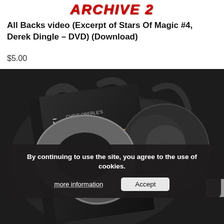ARCHIVE 2
All Backs video (Excerpt of Stars Of Magic #4, Derek Dingle – DVD) (Download)
$5.00
[Figure (photo): DVD box and disc for 'ALLUMINATI' by Chris Oberle, showing a dark cover with gold lettering and a ring-shaped metallic prop on a smoky background]
By continuing to use the site, you agree to the use of cookies.
more information    Accept